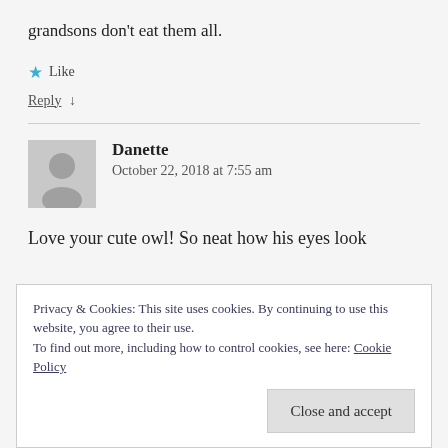grandsons don't eat them all.
★ Like
Reply ↓
Danette
October 22, 2018 at 7:55 am
Love your cute owl! So neat how his eyes look
Privacy & Cookies: This site uses cookies. By continuing to use this website, you agree to their use.
To find out more, including how to control cookies, see here: Cookie Policy
Close and accept